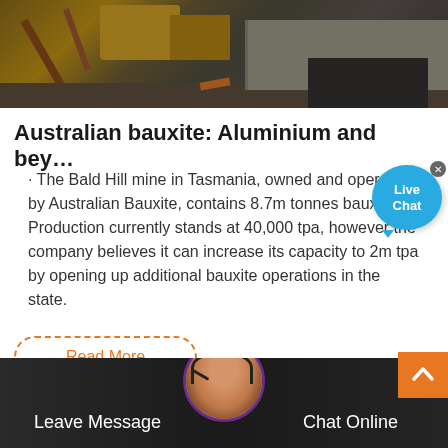[Figure (photo): Industrial mining equipment and machinery at a bauxite mine site]
Australian bauxite: Aluminium and bey…
· The Bald Hill mine in Tasmania, owned and operated by Australian Bauxite, contains 8.7m tonnes bauxite. Production currently stands at 40,000 tpa, however the company believes it can increase its capacity to 2m tpa by opening up additional bauxite operations in the state.
Read More
[Figure (screenshot): Live Chat bubble overlay and bottom chat bar with Leave Message and Chat Online options, plus support agent avatar]